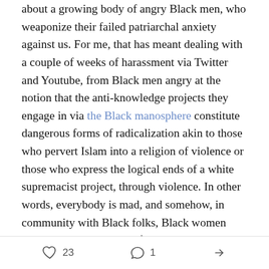about a growing body of angry Black men, who weaponize their failed patriarchal anxiety against us. For me, that has meant dealing with a couple of weeks of harassment via Twitter and Youtube, from Black men angry at the notion that the anti-knowledge projects they engage in via the Black manosphere constitute dangerous forms of radicalization akin to those who pervert Islam into a religion of violence or those who express the logical ends of a white supremacist project, through violence. In other words, everybody is mad, and somehow, in community with Black folks, Black women have become the target of Black men's anger, over being locked up and shut out, of white men's renewed quest for total and complete power. The Black men who are angry (notice that is a
23   1